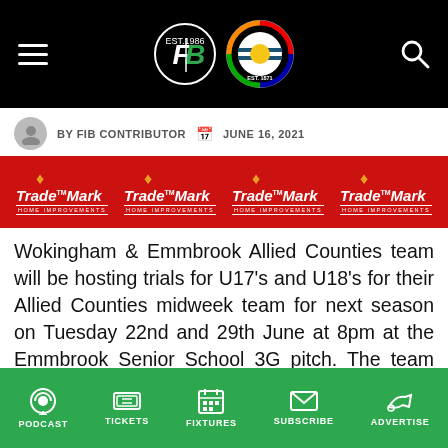Navigation header with FIB and Reading FC logos, hamburger menu and search icon
BY FIB CONTRIBUTOR   JUNE 16, 2021
[Figure (logo): TradeMark Home Improvements red banner with four repeated TradeMark logos and maple leaf icons]
Wokingham & Emmbrook Allied Counties team will be hosting trials for U17's and U18's for their Allied Counties midweek team for next season on Tuesday 22nd and 29th June at 8pm at the Emmbrook Senior School 3G pitch. The team play midweek against
PODCAST   TICKETS   FIXTURES   SUBSCRIBE   ADVERTISE